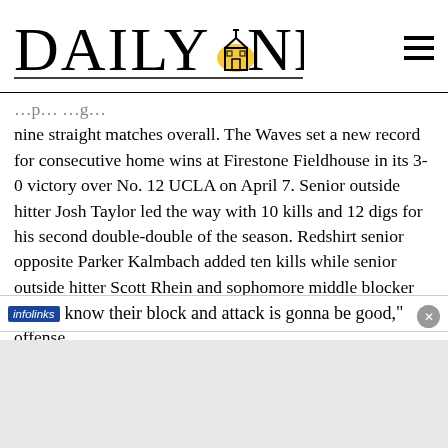DAILY NEXUS
nine straight matches overall. The Waves set a new record for consecutive home wins at Firestone Fieldhouse in its 3-0 victory over No. 12 UCLA on April 7. Senior outside hitter Josh Taylor led the way with 10 kills and 12 digs for his second double-double of the season. Redshirt senior opposite Parker Kalmbach added ten kills while senior outside hitter Scott Rhein and sophomore middle blocker Mitchell Penning each put down six kills to add to the offense.
know their block and attack is gonna be good,"